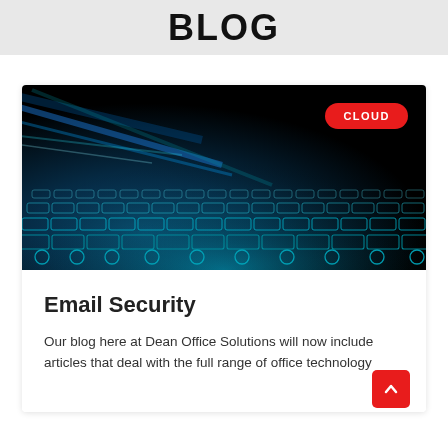BLOG
[Figure (photo): Close-up of a blue-lit keyboard at an angle against a dark/black background, representing cybersecurity or technology. A red 'CLOUD' badge is overlaid in the upper-right corner.]
Email Security
Our blog here at Dean Office Solutions will now include articles that deal with the full range of office technology